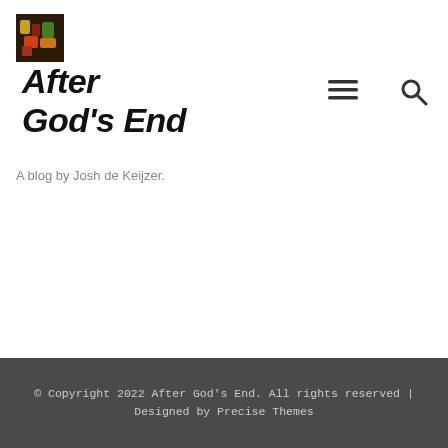[Figure (photo): Small square logo image showing colorful fruits or figures on a dark background]
After God's End
A blog by Josh de Keijzer.
© Copyright 2022 After God's End. All rights reserved | Designed by Precise Themes